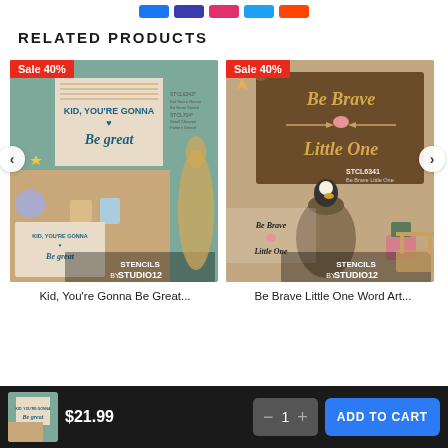Social share icons bar
RELATED PRODUCTS
[Figure (photo): Product image for Kid, You're Gonna Be Great stencil with Sale 40% badge and left navigation arrow]
[Figure (photo): Product image for Be Brave Little One Word Art stencil with Sale 40% badge and right navigation arrow]
Kid, You're Gonna Be Great...
Be Brave Little One Word Art...
$21.99  —  1  ADD TO CART